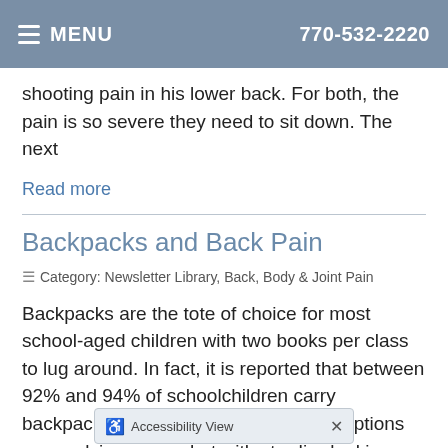MENU  770-532-2220
shooting pain in his lower back. For both, the pain is so severe they need to sit down. The next
Read more
Backpacks and Back Pain
Category: Newsletter Library, Back, Body & Joint Pain
Backpacks are the tote of choice for most school-aged children with two books per class to lug around. In fact, it is reported that between 92% and 94% of schoolchildren carry backpacks. And it appears these contraptions are evolving somewhat with sturdier-looking designs, heavily padded straps and about
Accessibility View  ×